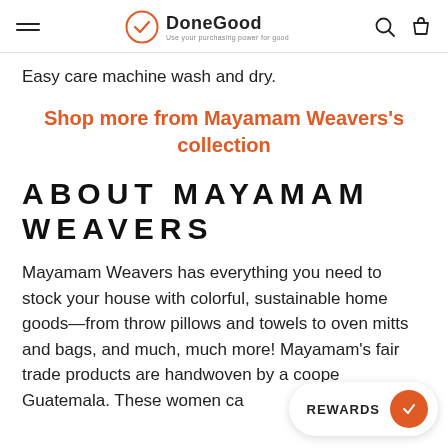DoneGood — Use your purchasing power for good
Easy care machine wash and dry.
Shop more from Mayamam Weavers's collection
ABOUT MAYAMAM WEAVERS
Mayamam Weavers has everything you need to stock your house with colorful, sustainable home goods—from throw pillows and towels to oven mitts and bags, and much, much more! Mayamam's fair trade products are handwoven by a coope Guatemala. These women carry on Mayan